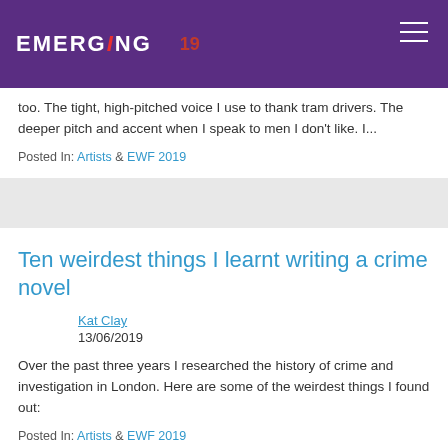EMERGING 19
too. The tight, high-pitched voice I use to thank tram drivers. The deeper pitch and accent when I speak to men I don't like. I...
Posted In: Artists & EWF 2019
Ten weirdest things I learnt writing a crime novel
Kat Clay
13/06/2019
Over the past three years I researched the history of crime and investigation in London. Here are some of the weirdest things I found out:
Posted In: Artists & EWF 2019